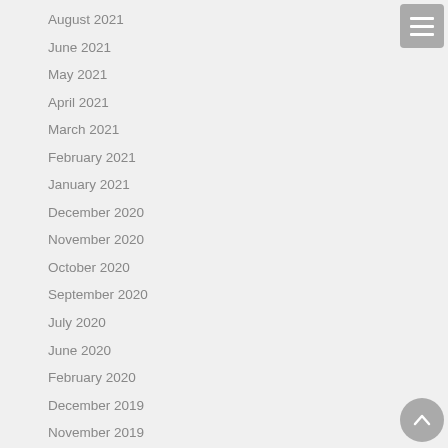August 2021
June 2021
May 2021
April 2021
March 2021
February 2021
January 2021
December 2020
November 2020
October 2020
September 2020
July 2020
June 2020
February 2020
December 2019
November 2019
October 2019